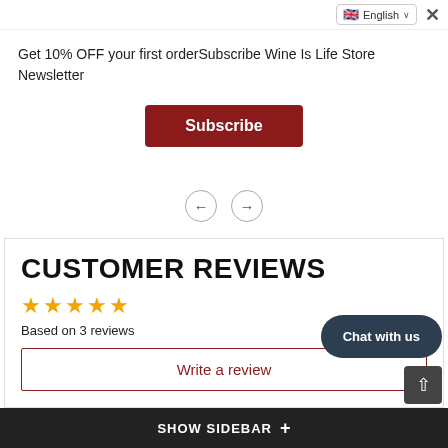Get 10% OFF your first orderSubscribe Wine Is Life Store Newsletter
Subscribe
CUSTOMER REVIEWS
Based on 3 reviews
Write a review
[Figure (infographic): Star rating bar chart showing 5-star: 100%, 4-star: 0%]
Chat with us
SHOW SIDEBAR +